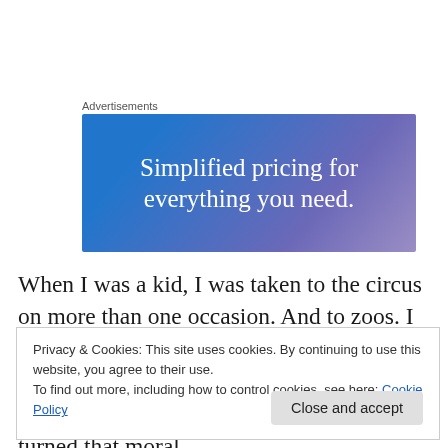Advertisements
[Figure (illustration): Advertisement banner with gradient blue-to-purple background and white text reading 'Simplified pricing for everything you need.']
When I was a kid, I was taken to the circus on more than one occasion. And to zoos. I loved them. It took me a long time to change my attitude towards the captivity and exploitation of animals. But once I had turned that moral
Privacy & Cookies: This site uses cookies. By continuing to use this website, you agree to their use.
To find out more, including how to control cookies, see here: Cookie Policy
Close and accept